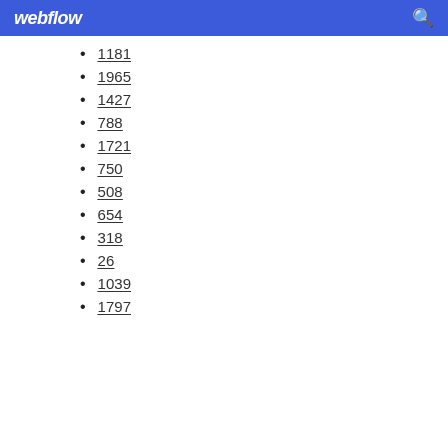webflow
1181
1965
1427
788
1721
750
508
654
318
26
1039
1797